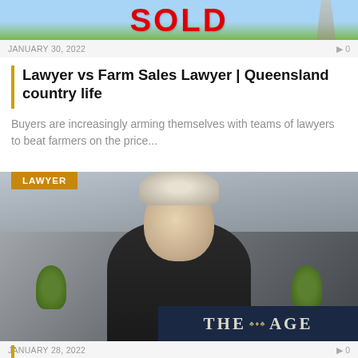[Figure (photo): Top of page showing a real estate SOLD sign against blue sky background]
JANUARY 30, 2022   0
Lawyer vs Farm Sales Lawyer | Queensland country life
Buyers are increasingly arming themselves with teams of lawyers to beat farmers on the price...
[Figure (photo): Young man wearing a barrister wig and dark suit, photographed indoors with plants and window in background. The Age newspaper logo visible in lower right corner. Tag reading LAWYER in top left.]
JANUARY 28, 2022   0